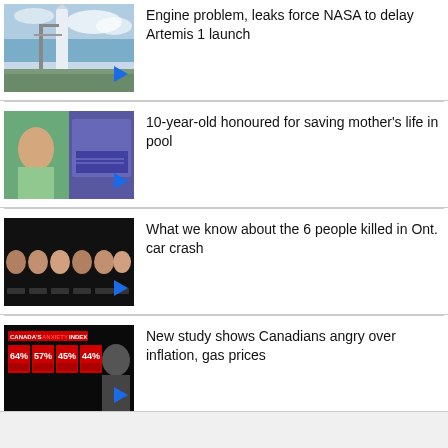[Figure (photo): Rocket on launch pad with cloudy sky - NASA Artemis 1]
Engine problem, leaks force NASA to delay Artemis 1 launch
[Figure (photo): 10-year-old child and pool surveillance footage]
10-year-old honoured for saving mother's life in pool
[Figure (photo): Group of 6 people on dark background - Ontario car crash victims]
What we know about the 6 people killed in Ont. car crash
[Figure (photo): Canada's Anxiety Index - red boxes with statistics, man in background]
New study shows Canadians angry over inflation, gas prices